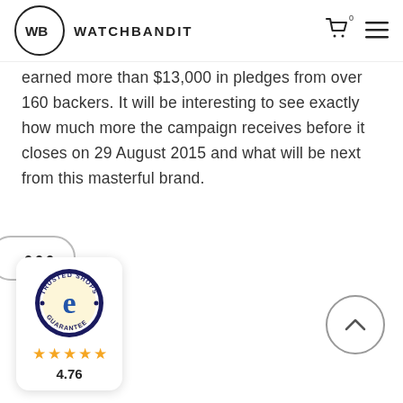WATCHBANDIT
earned more than $13,000 in pledges from over 160 backers. It will be interesting to see exactly how much more the campaign receives before it closes on 29 August 2015 and what will be next from this masterful brand.
[Figure (other): Trusted Shops guarantee badge with 5 gold stars and rating 4.76]
4.76